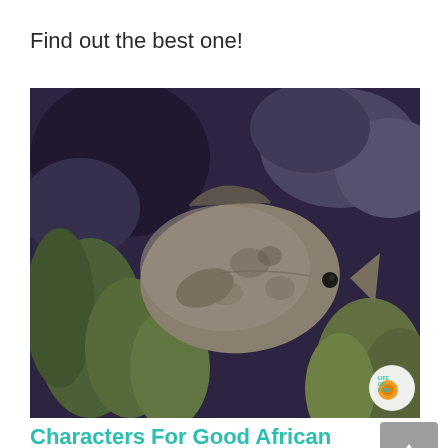Find out the best one!
[Figure (photo): Underwater aquarium photo of an African Leaf Fish swimming among green aquatic plants with rocky background. Fish has mottled gray-brown camouflage coloring, round flattened body shape. Small watermark logo visible in bottom-right corner of photo.]
Characters For Good African Leaf Fish Tank Mates